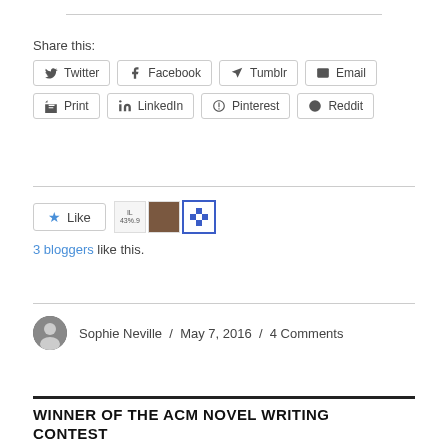Share this:
Twitter  Facebook  Tumblr  Email  Print  LinkedIn  Pinterest  Reddit
Like  3 bloggers like this.
Sophie Neville / May 7, 2016 / 4 Comments
WINNER OF THE ACM NOVEL WRITING CONTEST